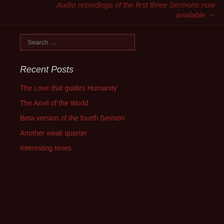Audio recordings of the first three Sermons now available →
Recent Posts
The Love that guides Humanity
The Anvil of the World
Beta version of the fourth Sermon
Another weak quarter
Interesting times